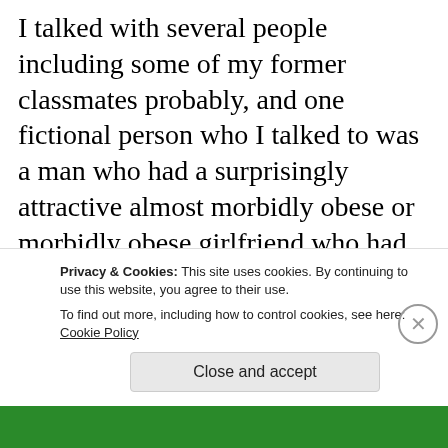I talked with several people including some of my former classmates probably, and one fictional person who I talked to was a man who had a surprisingly attractive almost morbidly obese or morbidly obese girlfriend who had whitish colored skin with orangeish colored hair and who wore a light blueish/greenish shirt/top that showed a lot of the top/upper part of her chest and maybe some cleavage because she h...
Privacy & Cookies: This site uses cookies. By continuing to use this website, you agree to their use.
To find out more, including how to control cookies, see here: Cookie Policy
Close and accept